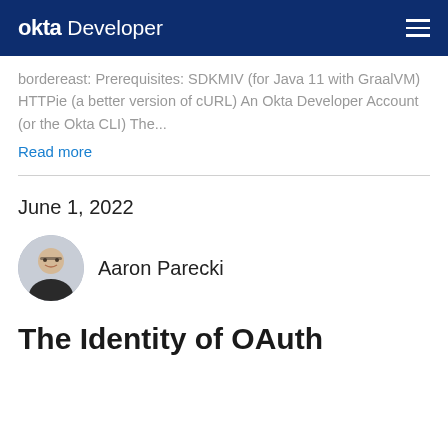okta Developer
bordereast: Prerequisites: SDKMIV (for Java 11 with GraalVM) HTTPie (a better version of cURL) An Okta Developer Account (or the Okta CLI) The...
Read more
June 1, 2022
[Figure (photo): Circular avatar photo of Aaron Parecki, a person with glasses smiling]
Aaron Parecki
The Identity of OAuth